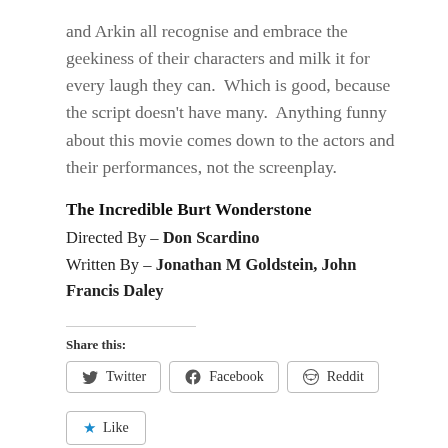and Arkin all recognise and embrace the geekiness of their characters and milk it for every laugh they can.  Which is good, because the script doesn't have many.  Anything funny about this movie comes down to the actors and their performances, not the screenplay.
The Incredible Burt Wonderstone
Directed By – Don Scardino
Written By – Jonathan M Goldstein, John Francis Daley
Share this:
Twitter  Facebook  Reddit
Like
Be the first to like this.